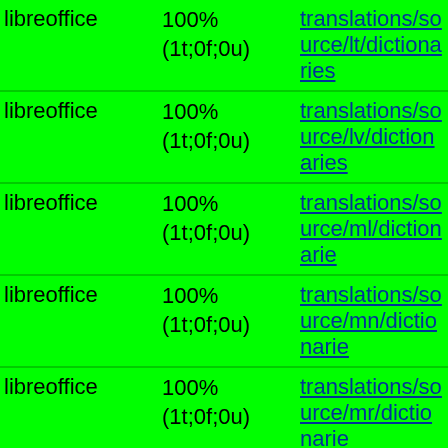|  |  |  |
| --- | --- | --- |
| libreoffice | 100%
(1t;0f;0u) | translations/source/lt/dictionaries |
| libreoffice | 100%
(1t;0f;0u) | translations/source/lv/dictionaries |
| libreoffice | 100%
(1t;0f;0u) | translations/source/ml/dictionaries |
| libreoffice | 100%
(1t;0f;0u) | translations/source/mn/dictionaries |
| libreoffice | 100%
(1t;0f;0u) | translations/source/mr/dictionaries |
| libreoffice | 100%
(1t;0f;0u) | translations/source/my/dictionaries |
| libreoffice | 100%
(1t;0f;0u) | translations/source/nb/dictionaries |
| libreoffice | 100%
(1t;0f;0u) | translations/source/ne/dictionaries |
| libreoffice | 100%
(1t;0f;0u) | translations/source/nl/dictionaries |